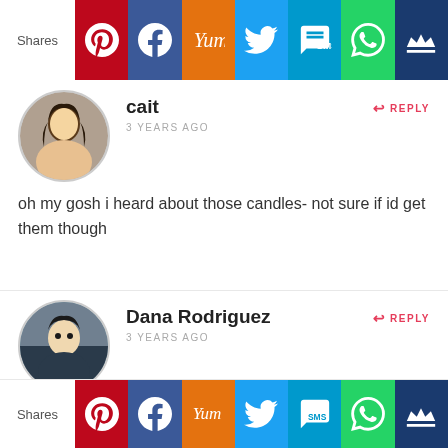[Figure (screenshot): Social share bar with Pinterest, Facebook, Yummly, Twitter, SMS, WhatsApp, and crown icons]
cait
3 YEARS AGO
REPLY
oh my gosh i heard about those candles- not sure if id get them though
Dana Rodriguez
3 YEARS AGO
REPLY
Those candles sound disgusting. Seriously girl, ewww
[Figure (screenshot): Social share bar bottom with Pinterest, Facebook, Yummly, Twitter, SMS, WhatsApp, and crown icons]